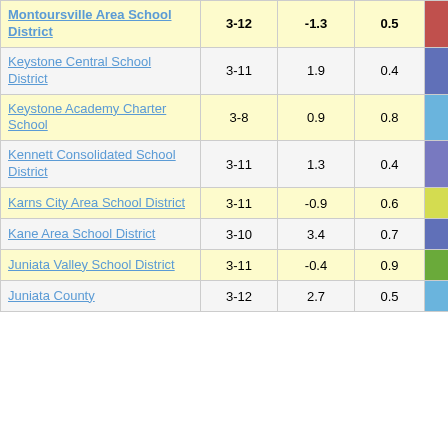| School District | Grades | Col1 | Col2 | Value |
| --- | --- | --- | --- | --- |
| Montoursville Area School District | 3-12 | -1.3 | 0.5 | -2.40 |
| Keystone Central School District | 3-11 | 1.9 | 0.4 | 4.90 |
| Keystone Academy Charter School | 3-8 | 0.9 | 0.8 | 1.11 |
| Kennett Consolidated School District | 3-11 | 1.3 | 0.4 | 3.26 |
| Karns City Area School District | 3-11 | -0.9 | 0.6 | -1.37 |
| Kane Area School District | 3-10 | 3.4 | 0.7 | 4.52 |
| Juniata Valley School District | 3-11 | -0.4 | 0.9 | -0.41 |
| Juniata County | 3-12 | 2.7 | 0.5 | 5.68 |